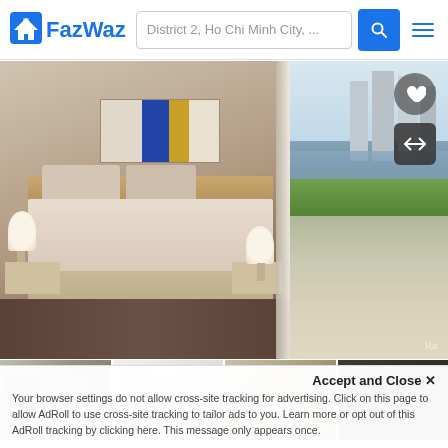FazWaz — District 2, Ho Chi Minh City, ...
[Figure (photo): Main property photo showing a bedroom interior with a large bed, painting on wall, night lamps, and a floor-to-ceiling window view of Ho Chi Minh City skyline and river]
[Figure (photo): Thumbnail 1: Living area with kitchen and appliances]
[Figure (photo): Thumbnail 2: White minimalist room with dresser and sofa]
[Figure (photo): Thumbnail 3: Dining/living area with decorative lamp]
[Figure (photo): Thumbnail 4: Dark room overlay with See All button]
Accept and Close ✕
Your browser settings do not allow cross-site tracking for advertising. Click on this page to allow AdRoll to use cross-site tracking to tailor ads to you. Learn more or opt out of this AdRoll tracking by clicking here. This message only appears once.